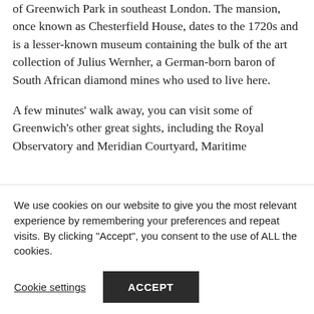by the Ranger's House on the western edge of Greenwich Park in southeast London. The mansion, once known as Chesterfield House, dates to the 1720s and is a lesser-known museum containing the bulk of the art collection of Julius Wernher, a German-born baron of South African diamond mines who used to live here.
A few minutes' walk away, you can visit some of Greenwich's other great sights, including the Royal Observatory and Meridian Courtyard, Maritime
We use cookies on our website to give you the most relevant experience by remembering your preferences and repeat visits. By clicking "Accept", you consent to the use of ALL the cookies.
Cookie settings
ACCEPT